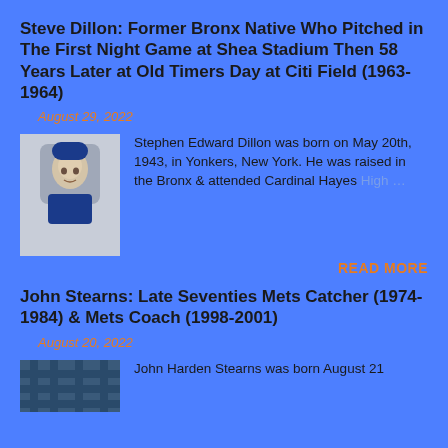Steve Dillon: Former Bronx Native Who Pitched in The First Night Game at Shea Stadium Then 58 Years Later at Old Timers Day at Citi Field (1963-1964)
August 29, 2022
[Figure (photo): Black and white photo of Steve Dillon in a Mets baseball cap]
Stephen Edward Dillon was born on May 20th, 1943, in Yonkers, New York. He was raised in the Bronx & attended Cardinal Hayes High ...
READ MORE
John Stearns: Late Seventies Mets Catcher (1974-1984) & Mets Coach (1998-2001)
August 20, 2022
[Figure (photo): Photo of John Stearns, partially visible at bottom of page]
John Harden Stearns was born August 21